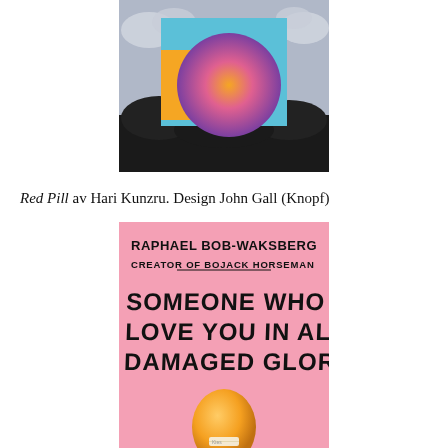[Figure (illustration): Book cover of 'Red Pill' by Hari Kunzru, design by John Gall (Knopf). Features a colorful abstract design: a large gradient circle (orange to purple) overlaid on a blue/teal square, set against a dark rocky landscape with cloudy sky.]
Red Pill av Hari Kunzru. Design John Gall (Knopf)
[Figure (illustration): Book cover of 'Someone Who Will Love You in All Your Damaged Glory' by Raphael Bob-Waksberg, creator of BoJack Horseman. Pink background with handwritten-style black text. Features an egg with a bandage at the bottom.]